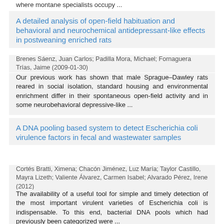where montane specialists occupy ...
A detailed analysis of open-field habituation and behavioral and neurochemical antidepressant-like effects in postweaning enriched rats
Brenes Sáenz, Juan Carlos; Padilla Mora, Michael; Fornaguera Trías, Jaime (2009-01-30)
Our previous work has shown that male Sprague–Dawley rats reared in social isolation, standard housing and environmental enrichment differ in their spontaneous open-field activity and in some neurobehavioral depressive-like ...
A DNA pooling based system to detect Escherichia coli virulence factors in fecal and wastewater samples
Cortés Bratti, Ximena; Chacón Jiménez, Luz María; Taylor Castillo, Mayra Lizeth; Valiente Álvarez, Carmen Isabel; Alvarado Pérez, Irene (2012)
The availability of a useful tool for simple and timely detection of the most important virulent varieties of Escherichia coli is indispensable. To this end, bacterial DNA pools which had previously been categorized were ...
A detailed...